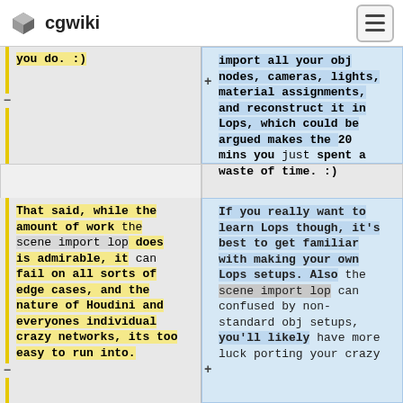cgwiki
you do. :)
import all your obj nodes, cameras, lights, material assignments, and reconstruct it in Lops, which could be argued makes the 20 mins you just spent a waste of time. :)
That said, while the amount of work the scene import lop does is admirable, it can fail on all sorts of edge cases, and the nature of Houdini and everyones individual crazy networks, its too easy to run into.
If you really want to learn Lops though, it's best to get familiar with making your own Lops setups. Also the scene import lop can confused by non-standard obj setups, you'll likely have more luck porting your crazy